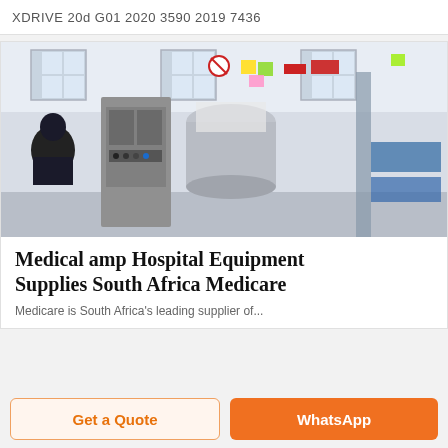XDRIVE 20d G01 2020 3590 2019 7436
[Figure (photo): Industrial manufacturing facility with stainless steel medical equipment packaging machinery; a worker in dark clothing is visible on the left side operating or inspecting the machine.]
Medical amp Hospital Equipment Supplies South Africa Medicare
Medicare is South Africa's leading supplier of ...
Get a Quote
WhatsApp